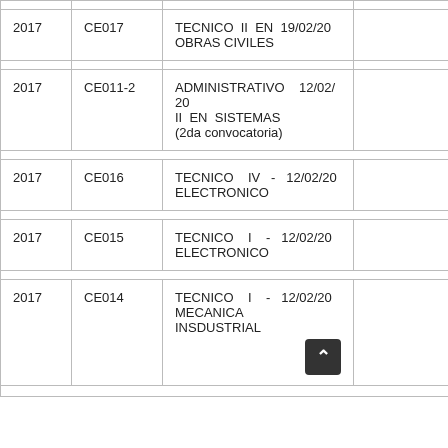| Año | Código | Descripción | Fecha |
| --- | --- | --- | --- |
| 2017 | CE017 | TECNICO II EN OBRAS CIVILES | 19/02/20 |
| 2017 | CE011-2 | ADMINISTRATIVO II EN SISTEMAS (2da convocatoria) | 12/02/20 |
| 2017 | CE016 | TECNICO IV - ELECTRONICO | 12/02/20 |
| 2017 | CE015 | TECNICO I - ELECTRONICO | 12/02/20 |
| 2017 | CE014 | TECNICO I - MECANICA INSDUSTRIAL | 12/02/20 |